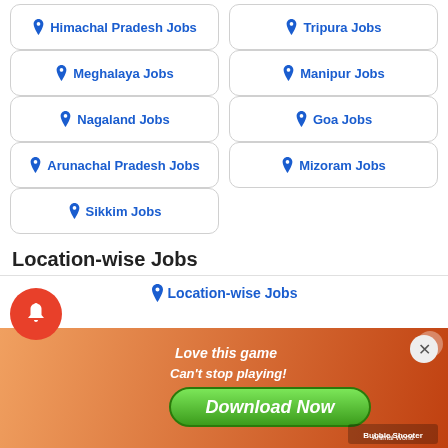Himachal Pradesh Jobs
Tripura Jobs
Meghalaya Jobs
Manipur Jobs
Nagaland Jobs
Goa Jobs
Arunachal Pradesh Jobs
Mizoram Jobs
Sikkim Jobs
Location-wise Jobs
Location-wise Jobs
[Figure (screenshot): Mobile game advertisement banner: 'Love this game Can't stop playing! Download Now' - Bubble Shooter Animal World game]